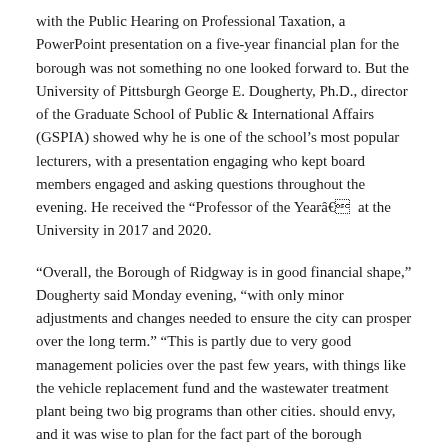with the Public Hearing on Professional Taxation, a PowerPoint presentation on a five-year financial plan for the borough was not something no one looked forward to. But the University of Pittsburgh George E. Dougherty, Ph.D., director of the Graduate School of Public & International Affairs (GSPIA) showed why he is one of the school's most popular lecturers, with a presentation engaging who kept board members engaged and asking questions throughout the evening. He received the “Professor of the Yearâ at the University in 2017 and 2020.
“Overall, the Borough of Ridgway is in good financial shape,” Dougherty said Monday evening, “with only minor adjustments and changes needed to ensure the city can prosper over the long term.” “This is partly due to very good management policies over the past few years, with things like the vehicle replacement fund and the wastewater treatment plant being two big programs than other cities. should envy, and it was wise to plan for the fact part of the borough council.”